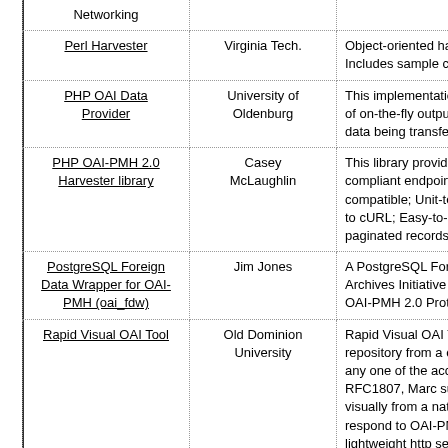| Name | Organization | Description |
| --- | --- | --- |
| Networking |  |  |
| Perl Harvester | Virginia Tech. | Object-oriented harveste... Includes sample code to... |
| PHP OAI Data Provider | University of Oldenburg | This implementation com... of on-the-fly output comp... data being transfered. |
| PHP OAI-PMH 2.0 Harvester library | Casey McLaughlin | This library provides an i... compliant endpoint. Fea... compatible; Unit-tested;... to cURL; Easy-to-use ite... paginated records. |
| PostgreSQL Foreign Data Wrapper for OAI-PMH (oai_fdw) | Jim Jones | A PostgreSQL Foreign D... Archives Initiative Proto... OAI-PMH 2.0 Protocol. |
| Rapid Visual OAI Tool | Old Dominion University | Rapid Visual OAI Tool (R... repository from a collecti... any one of the acceptab... RFC1807, Marc subset &... visually from a native for... respond to OAI-PMH rec... lightweight http server ar... design of RVOT is such ... formats. |
| Shell Harvester | Wim Muskee | The OAI-PMH Shell Har... multiple configurable tar... able to execute a pres... |